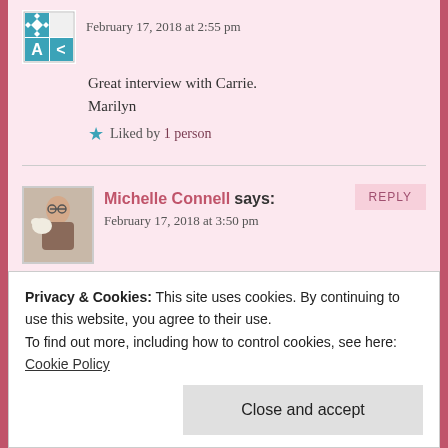February 17, 2018 at 2:55 pm
Great interview with Carrie.
Marilyn
Liked by 1 person
Michelle Connell says:
February 17, 2018 at 3:50 pm
Thanks for reading it, Marilyn!
Like
Privacy & Cookies: This site uses cookies. By continuing to use this website, you agree to their use.
To find out more, including how to control cookies, see here: Cookie Policy
Close and accept